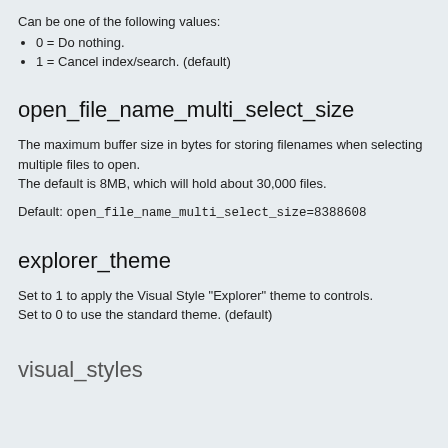Can be one of the following values:
0 = Do nothing.
1 = Cancel index/search. (default)
open_file_name_multi_select_size
The maximum buffer size in bytes for storing filenames when selecting multiple files to open.
The default is 8MB, which will hold about 30,000 files.
Default: open_file_name_multi_select_size=8388608
explorer_theme
Set to 1 to apply the Visual Style "Explorer" theme to controls.
Set to 0 to use the standard theme. (default)
visual_styles